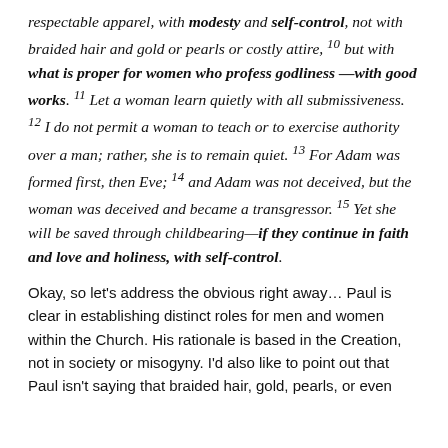respectable apparel, with modesty and self-control, not with braided hair and gold or pearls or costly attire, 10 but with what is proper for women who profess godliness—with good works. 11 Let a woman learn quietly with all submissiveness. 12 I do not permit a woman to teach or to exercise authority over a man; rather, she is to remain quiet. 13 For Adam was formed first, then Eve; 14 and Adam was not deceived, but the woman was deceived and became a transgressor. 15 Yet she will be saved through childbearing—if they continue in faith and love and holiness, with self-control.
Okay, so let's address the obvious right away… Paul is clear in establishing distinct roles for men and women within the Church. His rationale is based in the Creation, not in society or misogyny. I'd also like to point out that Paul isn't saying that braided hair, gold, pearls, or even...